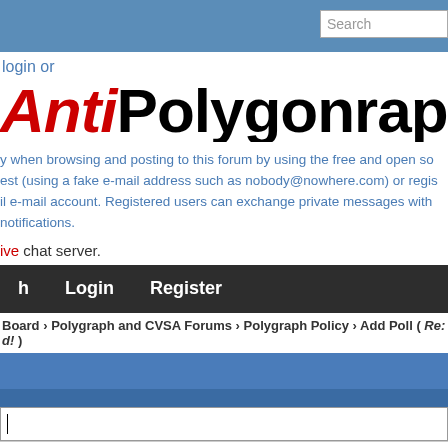Search
login or
AntiPolygraph.
y when browsing and posting to this forum by using the free and open so est (using a fake e-mail address such as nobody@nowhere.com) or regis il e-mail account. Registered users can exchange private messages with notifications.
ive chat server.
h  Login  Register
Board › Polygraph and CVSA Forums › Polygraph Policy › Add Poll ( Re: Iraqi po d! )
Text Color Split Pie